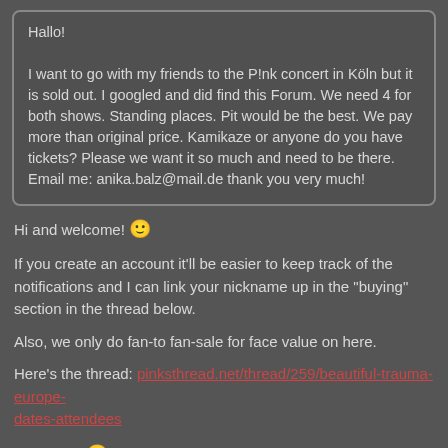Hallo!

I want to go with my friends to the P!nk concert in Köln but it is sold out. I googled and did find this Forum. We need 4 for both shows. Standing places. Pit would be the best. We pay more than original price. Kamikaze or anyone do you have tickets? Please we want it so much and need to be there. Email me: anika.balz@mail.de thank you very much!
Hi and welcome! 🙂
If you create an account it'll be easier to keep track of the notifications and I can link your nickname up in the "buying" section in the thread below.
Also, we only do fan-to fan-sale for face value on here.
Here's the thread: pinksthread.net/thread/259/beautiful-trauma-europe-dates-attendees
Good luck 🙂
Anika
Feb 8, 2019 at 6:41pm
Thank you very nice of you. I saw the link before but there are not the